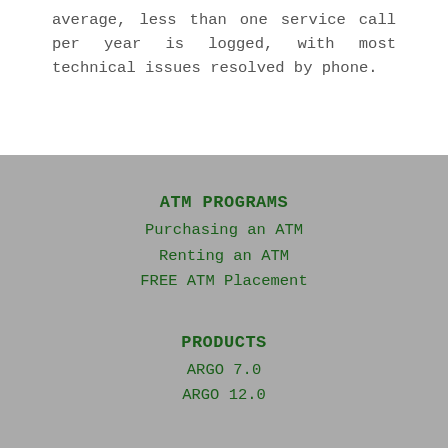average, less than one service call per year is logged, with most technical issues resolved by phone.
ATM PROGRAMS
Purchasing an ATM
Renting an ATM
FREE ATM Placement
PRODUCTS
ARGO 7.0
ARGO 12.0